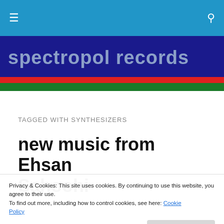≡  🔍
[Figure (logo): spectropol records logo — dark navy background with large grey bold text reading 'spectropol records', red stripe and green stripe below]
TAGGED WITH SYNTHESIZERS
new music from Ehsan Sahoohi
Privacy & Cookies: This site uses cookies. By continuing to use this website, you agree to their use.
To find out more, including how to control cookies, see here: Cookie Policy
[Close and accept]